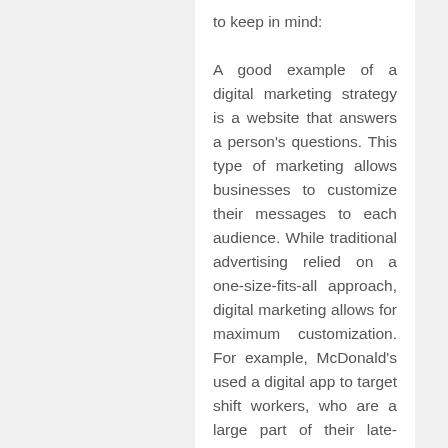to keep in mind:

A good example of a digital marketing strategy is a website that answers a person's questions. This type of marketing allows businesses to customize their messages to each audience. While traditional advertising relied on a one-size-fits-all approach, digital marketing allows for maximum customization. For example, McDonald's used a digital app to target shift workers, who are a large part of their late-night business. The app